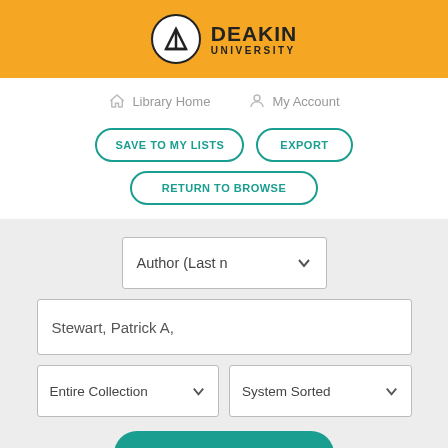[Figure (logo): Deakin University logo with orange header bar, shield icon in white circle, and DEAKIN UNIVERSITY text in bold]
Library Home   My Account
SAVE TO MY LISTS   EXPORT   RETURN TO BROWSE
Author (Last name first) dropdown selector
Stewart, Patrick A,
Entire Collection dropdown   System Sorted dropdown
SEARCH